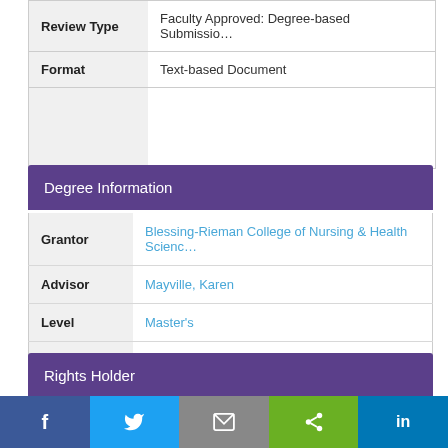|  |  |
| --- | --- |
| Review Type | Faculty Approved: Degree-based Submission |
| Format | Text-based Document |
|  |  |
Degree Information
|  |  |
| --- | --- |
| Grantor | Blessing-Rieman College of Nursing & Health Sciences |
| Advisor | Mayville, Karen |
| Level | Master's |
| Year | 2013 |
Rights Holder